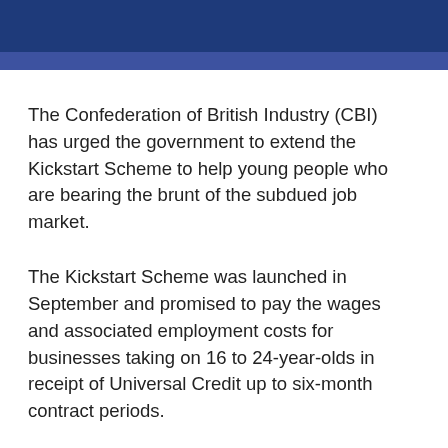The Confederation of British Industry (CBI) has urged the government to extend the Kickstart Scheme to help young people who are bearing the brunt of the subdued job market.
The Kickstart Scheme was launched in September and promised to pay the wages and associated employment costs for businesses taking on 16 to 24-year-olds in receipt of Universal Credit up to six-month contract periods.
The UK unemployment rate fell to 4.9% in the three months to February, according to the latest figures from the Office for National Statistics (ONS). However, 56,000 workers were cut from company payrolls in March, which represents the first monthly drop since last November.